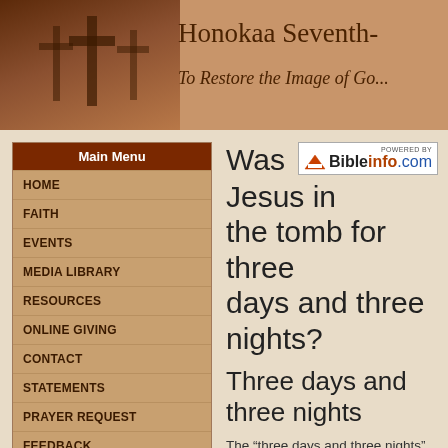Honokaa Seventh- | To Restore the Image of Go...
Main Menu
HOME
FAITH
EVENTS
MEDIA LIBRARY
RESOURCES
ONLINE GIVING
CONTACT
STATEMENTS
PRAYER REQUEST
FEEDBACK
Healthy Living
Was Jesus in the tomb for three days and three nights?
Three days and three nights
The “three days and three nights” mentioned in Matthew 12:40 have confused some people because of the supposed differences between how long Christ said He would...